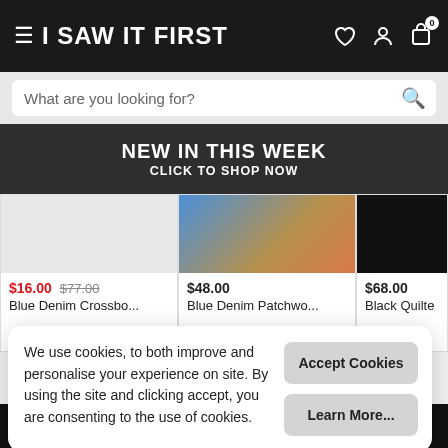I SAW IT FIRST
What are you looking for?
NEW IN THIS WEEK
CLICK TO SHOP NOW
[Figure (photo): Three product images partially visible: left a pale/white background fashion item, center blue denim patchwork item with skin visible, right dark/black quilted item]
$16.00 $77.00
Blue Denim Crossbo...
$48.00
Blue Denim Patchwo...
$68.00
Black Quilte...
You May Also Like
We use cookies, to both improve and personalise your experience on site. By using the site and clicking accept, you are consenting to the use of cookies.
Accept Cookies
Learn More...
COMING SOON – NOTIFY ME